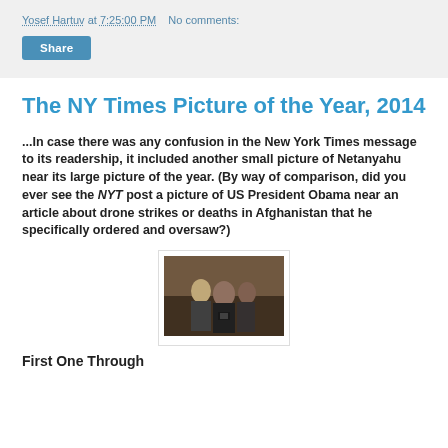Yosef Hartuv at 7:25:00 PM   No comments:
Share
The NY Times Picture of the Year, 2014
...In case there was any confusion in the New York Times message to its readership, it included another small picture of Netanyahu near its large picture of the year. (By way of comparison, did you ever see the NYT post a picture of US President Obama near an article about drone strikes or deaths in Afghanistan that he specifically ordered and oversaw?)
[Figure (photo): A photo showing several people, appearing to be a news photograph related to the article content.]
First One Through